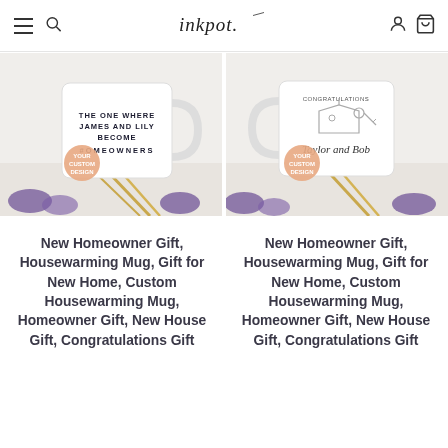inkpot. (navigation header with hamburger, search, logo, user, cart icons)
[Figure (photo): White ceramic mug with custom text 'THE ONE WHERE JAMES AND LILY BECOME HOMEOWNERS' in Friends-style font, with 'YOUR CUSTOM DESIGN' badge, surrounded by purple lavender flowers and yellow wheat stalks]
[Figure (photo): White ceramic mug with congratulations design showing a key and house illustration with cursive names 'Taylor and Bob', with 'YOUR CUSTOM DESIGN' badge, surrounded by purple lavender flowers and yellow wheat stalks]
New Homeowner Gift, Housewarming Mug, Gift for New Home, Custom Housewarming Mug, Homeowner Gift, New House Gift, Congratulations Gift
New Homeowner Gift, Housewarming Mug, Gift for New Home, Custom Housewarming Mug, Homeowner Gift, New House Gift, Congratulations Gift